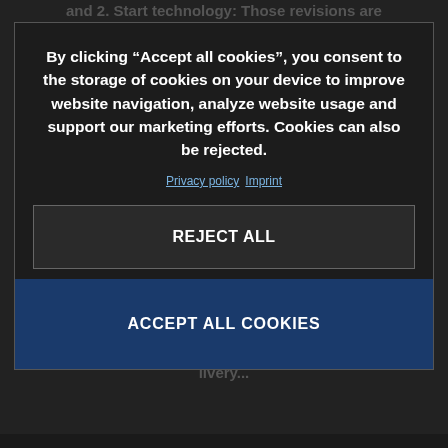and 2. Start technology: Those revisions are instantly noticeable as after a simple push of a button, the engine starts easily, and, once out on track, the TC 125 delivers an improved
By clicking “Accept all cookies”, you consent to the storage of cookies on your device to improve website navigation, analyze website usage and support our marketing efforts. Cookies can also be rejected.
Privacy policy  Imprint
lighter crank... throttle response and reduced drag, continuing to benefit from class-leading components including WP...
REJECT ALL
polyamide mirror surround frame, the TC 125 receives all-new body work and a striking new livery...
ACCEPT ALL COOKIES